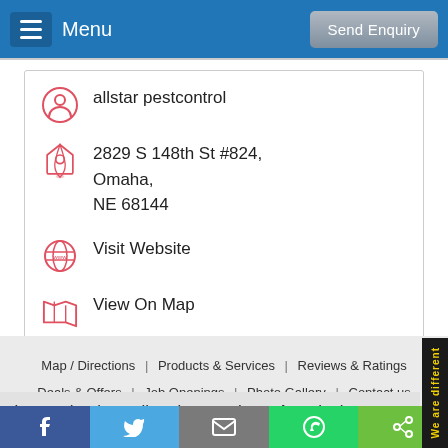Menu | Send Enquiry
allstar pestcontrol
2829 S 148th St #824,
Omaha,
NE 68144
Visit Website
View On Map
Map / Directions | Products & Services | Reviews & Ratings | Deals & Offers | Job Openings | Photo Gallery | Contact us | Sitemap
Is your business listed correctly on America's
We are different